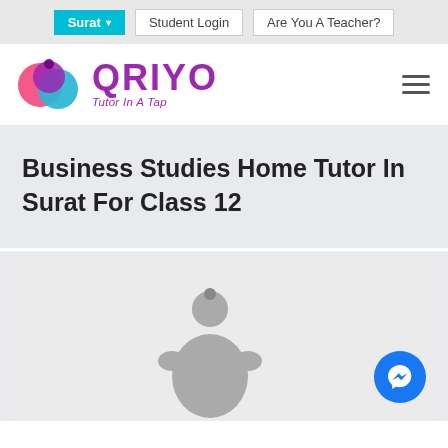Surat ▾  Student Login  Are You A Teacher?
[Figure (logo): QRIYO logo with colorful icon (pink, blue, purple overlapping circular shapes) and purple text 'QRIYO' with italic tagline 'Tutor In A Tap']
Business Studies Home Tutor In Surat For Class 12
[Figure (illustration): Gray silhouette of a tutor figure at the bottom of a card area, with a blue Facebook Messenger bubble icon in the bottom right corner]